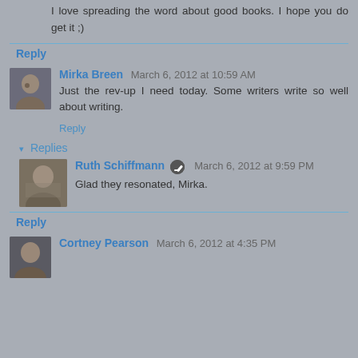I love spreading the word about good books. I hope you do get it ;)
Reply
Mirka Breen  March 6, 2012 at 10:59 AM
Just the rev-up I need today. Some writers write so well about writing.
Reply
Replies
Ruth Schiffmann  March 6, 2012 at 9:59 PM
Glad they resonated, Mirka.
Reply
Cortney Pearson  March 6, 2012 at 4:35 PM